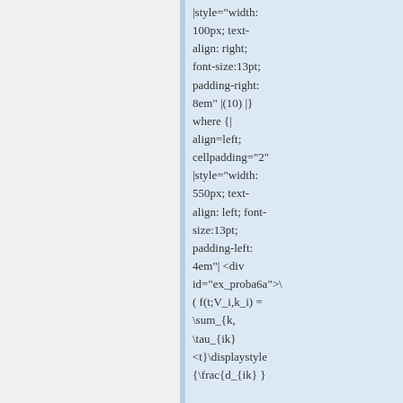|style="width: 100px; text-align: right; font-size:13pt; padding-right: 8em" |(10) |} where {| align=left; cellpadding="2" |style="width: 550px; text-align: left; font-size:13pt; padding-left: 4em"| <div id="ex_proba6a">\ ( f(t;V_i,k_i) = \sum_{k, \tau_{ik} <t}\displaystyle {\frac{d_{ik} }